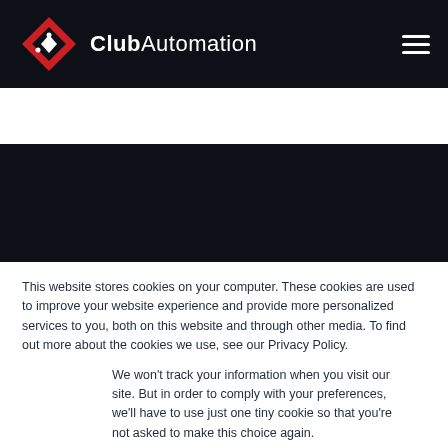[Figure (logo): Club Automation logo with red diamond shape and white text 'Club' bold followed by 'Automation' regular weight on dark navy background]
This website stores cookies on your computer. These cookies are used to improve your website experience and provide more personalized services to you, both on this website and through other media. To find out more about the cookies we use, see our Privacy Policy.
We won't track your information when you visit our site. But in order to comply with your preferences, we'll have to use just one tiny cookie so that you're not asked to make this choice again.